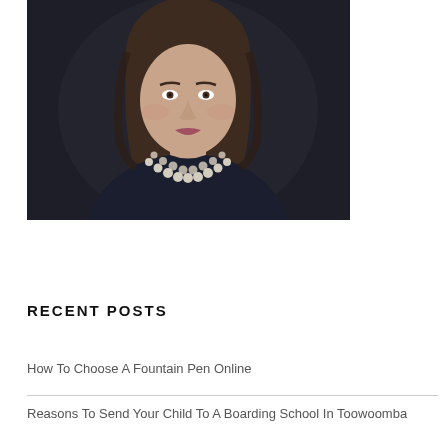[Figure (photo): Portrait photo of a woman with shoulder-length brown hair wearing a dark navy top and a pearl/rhinestone necklace collar, photographed against a dark background]
RECENT POSTS
How To Choose A Fountain Pen Online
Reasons To Send Your Child To A Boarding School In Toowoomba